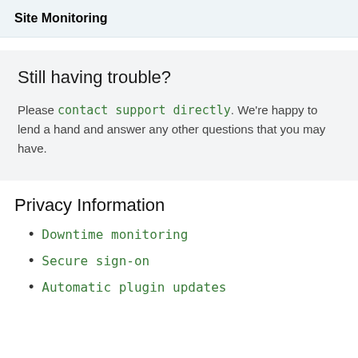Site Monitoring
Still having trouble?
Please contact support directly. We're happy to lend a hand and answer any other questions that you may have.
Privacy Information
Downtime monitoring
Secure sign-on
Automatic plugin updates